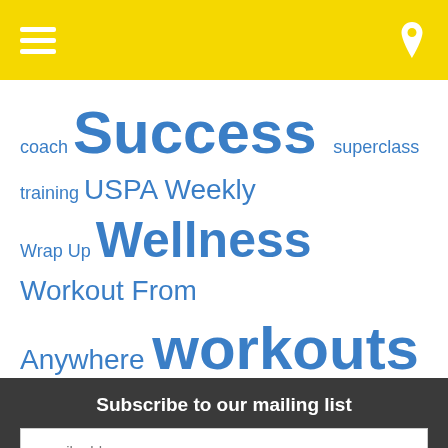Navigation header with hamburger menu and location pin icon
coach Success superclass training USPA Weekly Wrap Up Wellness Workout From Anywhere workouts
Subscribe to our mailing list
email address
Subscribe
[Figure (logo): Facebook icon in yellow-bordered box]
[Figure (logo): Instagram icon in yellow-bordered box]
Schedule A Tour powered by Calendly